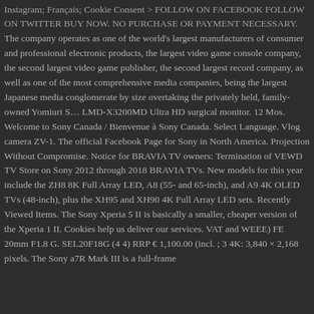Instagram; Français; Cookie Consent > FOLLOW ON FACEBOOK FOLLOW ON TWITTER BUY NOW. NO PURCHASE OR PAYMENT NECESSARY.
The company operates as one of the world's largest manufacturers of consumer and professional electronic products, the largest video game console company, the second largest video game publisher, the second largest record company, as well as one of the most comprehensive media companies, being the largest Japanese media conglomerate by size overtaking the privately held, family-owned Yomiuri S… LMD-X3200MD Ultra HD surgical monitor. 12 Mos. Welcome to Sony Canada / Bienvenue à Sony Canada. Select Language. Vlog camera ZV-1. The official Facebook Page for Sony in North America. Projection Without Compromise. Notice for BRAVIA TV owners: Termination of VEWD TV Store on Sony 2012 through 2018 BRAVIA TVs. New models for this year include the ZH8 8K Full Array LED, A8 (55- and 65-inch), and A9 4K OLED TVs (48-inch), plus the XH95 and XH90 4K Full Array LED sets. Recently Viewed Items. The Sony Xperia 5 II is basically a smaller, cheaper version of the Xperia 1 II. Cookies help us deliver our services. VAT and WEEE) FE 20mm F1.8 G. SEL20F18G (4 4) RRP € 1,100.00 (incl. ; 3 4K: 3,840 × 2,160 pixels. The Sony a7R Mark III is a full-frame mirrorless camera